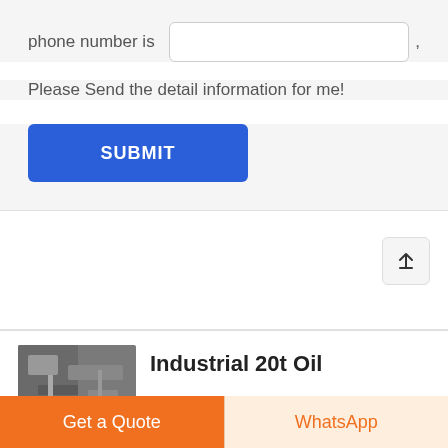phone number is
Please Send the detail information for me!
SUBMIT
[Figure (screenshot): Industrial boiler or factory interior thumbnail image]
Industrial 20t Oil
Get a Quote
WhatsApp